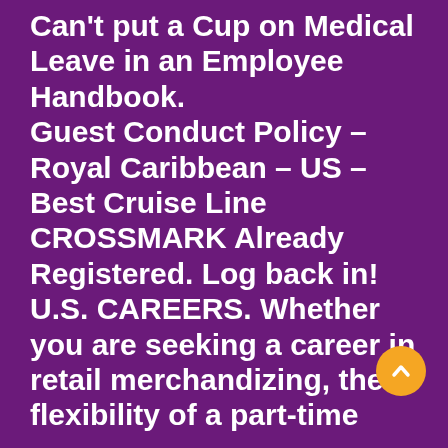Can't put a Cap on Medical Leave in an Employee Handbook. Guest Conduct Policy – Royal Caribbean – US – Best Cruise Line CROSSMARK Already Registered. Log back in! U.S. CAREERS. Whether you are seeking a career in retail merchandizing, the flexibility of a part-time
Careers at Tapestry
Psychology, Theology, and Spirituality in Christian Counseling; Hardcover. Psychology, Theology, and Spirituality in Christian Counseling. by Mark R